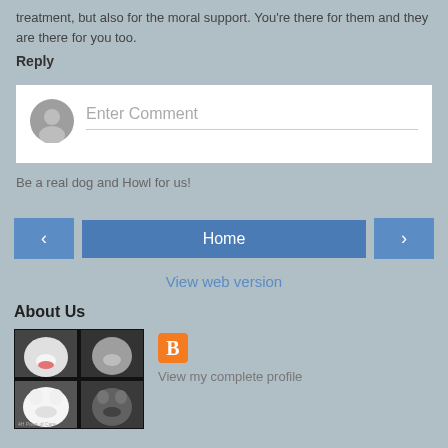treatment, but also for the moral support. You're there for them and they are there for you too.
Reply
[Figure (other): Comment input area with avatar placeholder and 'Enter Comment' text field]
Be a real dog and Howl for us!
[Figure (other): Navigation buttons: left arrow, Home, right arrow]
View web version
About Us
[Figure (photo): Grid of dog photos (6 dogs shown)]
View my complete profile
Powered by Blogger.